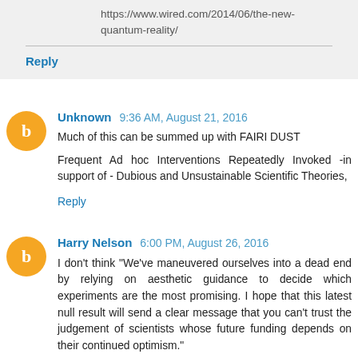https://www.wired.com/2014/06/the-new-quantum-reality/
Reply
Unknown  9:36 AM, August 21, 2016
Much of this can be summed up with FAIRI DUST

Frequent Ad hoc Interventions Repeatedly Invoked -in support of - Dubious and Unsustainable Scientific Theories,
Reply
Harry Nelson  6:00 PM, August 26, 2016
I don't think "We've maneuvered ourselves into a dead end by relying on aesthetic guidance to decide which experiments are the most promising. I hope that this latest null result will send a clear message that you can't trust the judgement of scientists whose future funding depends on their continued optimism."